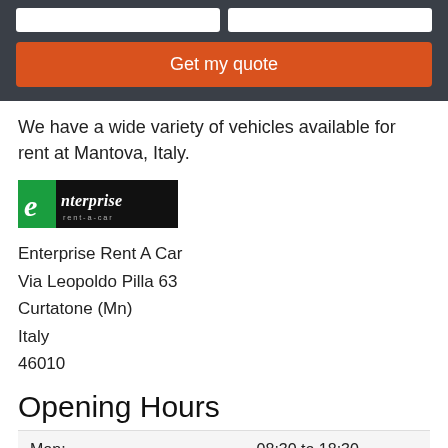[Figure (screenshot): Dark header bar with two white input boxes and an orange 'Get my quote' button]
We have a wide variety of vehicles available for rent at Mantova, Italy.
[Figure (logo): Enterprise Rent-A-Car logo]
Enterprise Rent A Car
Via Leopoldo Pilla 63
Curtatone (Mn)
Italy
46010
Opening Hours
| Day | Hours |
| --- | --- |
| Mon: | 08:30 to 18:30 |
| Tue: | 08:30 to 18:30 |